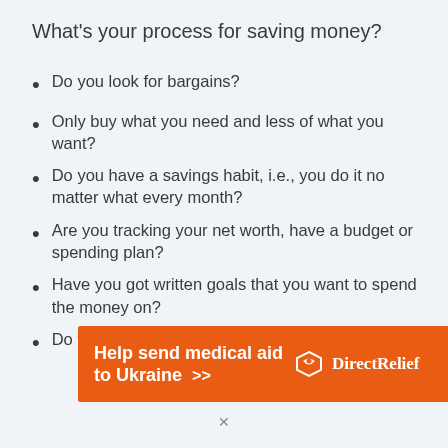What's your process for saving money?
Do you look for bargains?
Only buy what you need and less of what you want?
Do you have a savings habit, i.e., you do it no matter what every month?
Are you tracking your net worth, have a budget or spending plan?
Have you got written goals that you want to spend the money on?
Do you follow your parents, friends or other
[Figure (infographic): Orange advertisement banner for Direct Relief: 'Help send medical aid to Ukraine >>' with Direct Relief logo on right side.]